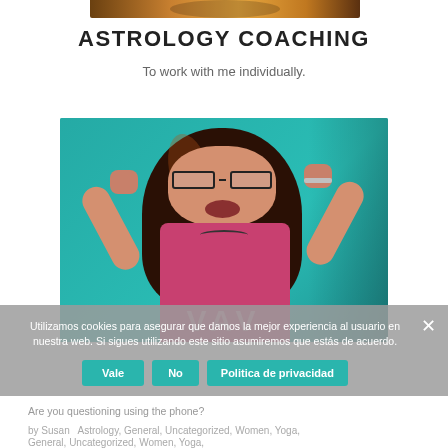[Figure (photo): Partial cropped image visible at top of page, appears to be a person with warm tones]
ASTROLOGY COACHING
To work with me individually.
[Figure (photo): Woman with long dark hair and glasses, arms raised in excitement, against a teal/turquoise background, watermark text visible at bottom]
Utilizamos cookies para asegurar que damos la mejor experiencia al usuario en nuestra web. Si sigues utilizando este sitio asumiremos que estás de acuerdo.
Are you questioning using the phone? by Susan... Astrology, General, Uncategorized, Women, Yoga,